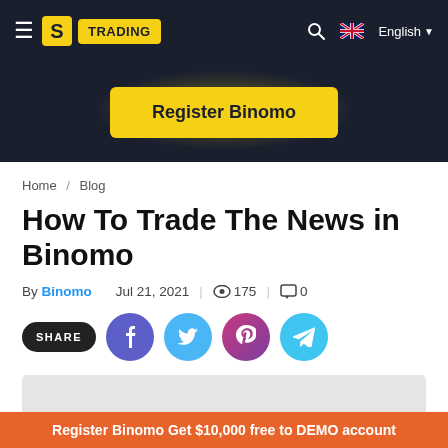≡ Binomo TRADING | Search | English
[Figure (screenshot): Register Binomo button on dark banner background]
Home / Blog
How To Trade The News in Binomo
By Binomo   Jul 21, 2021  |  👁 175  |  💬 0
SHARE  [Facebook] [Twitter] [Pinterest] [Telegram]
[Figure (photo): Article banner image placeholder (light grey)]
Register Binomo Get $10,000 free to DEMO account